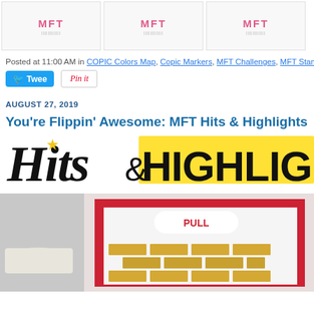[Figure (other): Three MFT product thumbnail images in a row]
Posted at 11:00 AM in COPIC Colors Map, Copic Markers, MFT Challenges, MFT Stamps | Perma...
[Figure (other): Tweet button and Pin it button]
AUGUST 27, 2019
You're Flippin' Awesome: MFT Hits & Highlights
[Figure (illustration): Hits & Highlights banner graphic with script and bold text on yellow highlight]
[Figure (photo): Handmade card with red border, brick wall design, and PULL tab element]